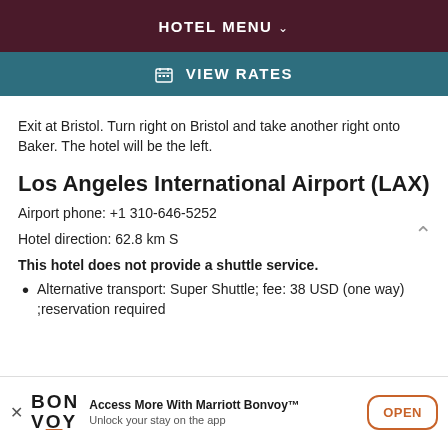HOTEL MENU
VIEW RATES
Exit at Bristol. Turn right on Bristol and take another right onto Baker. The hotel will be the left.
Los Angeles International Airport (LAX)
Airport phone: +1 310-646-5252
Hotel direction: 62.8 km S
This hotel does not provide a shuttle service.
Alternative transport: Super Shuttle; fee: 38 USD (one way) ;reservation required
Access More With Marriott Bonvoy™ Unlock your stay on the app